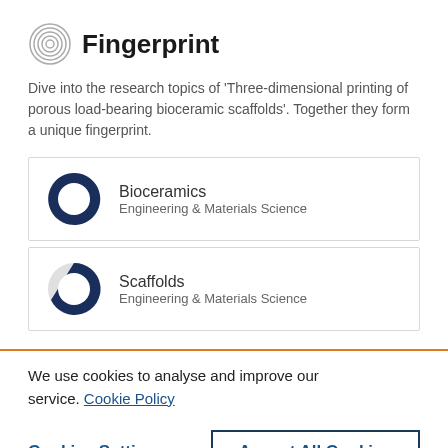Fingerprint
Dive into the research topics of 'Three-dimensional printing of porous load-bearing bioceramic scaffolds'. Together they form a unique fingerprint.
[Figure (donut-chart): Donut chart showing approximately 90% fill for Bioceramics, Engineering & Materials Science]
[Figure (donut-chart): Donut chart showing approximately 65% fill for Scaffolds, Engineering & Materials Science]
We use cookies to analyse and improve our service. Cookie Policy
Cookies Settings
Accept All Cookies